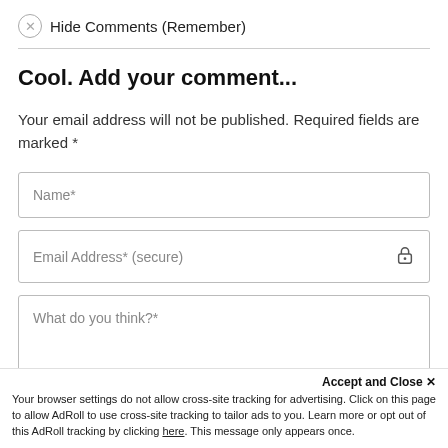Hide Comments (Remember)
Cool. Add your comment...
Your email address will not be published. Required fields are marked *
Name*
Email Address* (secure)
What do you think?*
Accept and Close ✕
Your browser settings do not allow cross-site tracking for advertising. Click on this page to allow AdRoll to use cross-site tracking to tailor ads to you. Learn more or opt out of this AdRoll tracking by clicking here. This message only appears once.